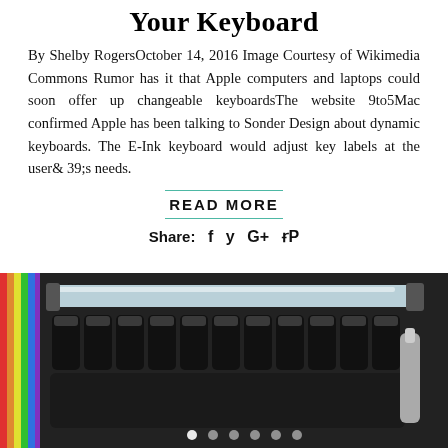Your Keyboard
By Shelby RogersOctober 14, 2016 Image Courtesy of Wikimedia Commons Rumor has it that Apple computers and laptops could soon offer up changeable keyboardsThe website 9to5Mac confirmed Apple has been talking to Sonder Design about dynamic keyboards. The E-Ink keyboard would adjust key labels at the user& 39;s needs.
READ MORE
Share: f y G+ ⊕
[Figure (photo): Close-up photo of a keyboard or electronic component with rainbow-colored ribbon cable on the left side, black cylindrical components, and a clear/transparent piece at the top. Carousel dots visible at bottom.]